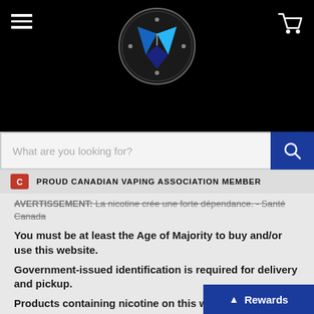[Figure (logo): Inspired Vapor Company circular logo with blue V diamond shape on dark background]
What are you looking for?
PROUD CANADIAN VAPING ASSOCIATION MEMBER
AVERTISSEMENT: La nicotine crée une forte dépendance. - Santé Canada
You must be at least the Age of Majority to buy and/or use this website.
Government-issued identification is required for delivery and pickup.
Products containing nicotine on this website may be hazardous and addictive.
Rewards